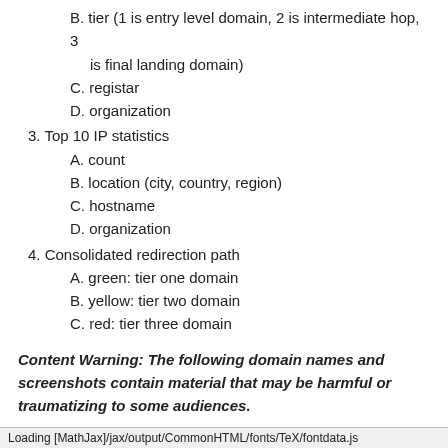B. tier (1 is entry level domain, 2 is intermediate hop, 3 is final landing domain)
C. registar
D. organization
3. Top 10 IP statistics
A. count
B. location (city, country, region)
C. hostname
D. organization
4. Consolidated redirection path
A. green: tier one domain
B. yellow: tier two domain
C. red: tier three domain
Content Warning: The following domain names and screenshots contain material that may be harmful or traumatizing to some audiences.
| num_domain | num_links | num_full_url | num_safebrowsing_mal |
| --- | --- | --- | --- |
| 0 | 221 | 215 | 569 |
Loading [MathJax]/jax/output/CommonHTML/fonts/TeX/fontdata.js